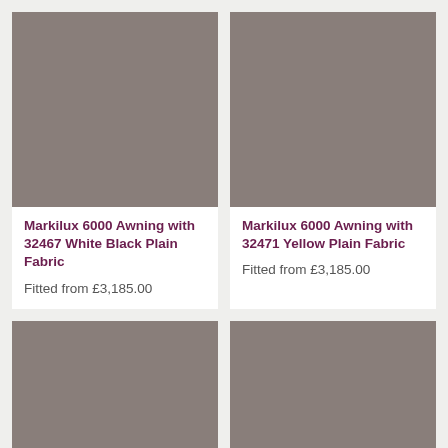[Figure (photo): Grey/taupe awning fabric swatch - Markilux 6000 with 32467 White Black Plain Fabric]
Markilux 6000 Awning with 32467 White Black Plain Fabric
Fitted from £3,185.00
[Figure (photo): Grey/taupe awning fabric swatch - Markilux 6000 with 32471 Yellow Plain Fabric]
Markilux 6000 Awning with 32471 Yellow Plain Fabric
Fitted from £3,185.00
[Figure (photo): Grey/taupe awning fabric swatch - bottom left card (partially visible)]
[Figure (photo): Grey/taupe awning fabric swatch - bottom right card (partially visible)]